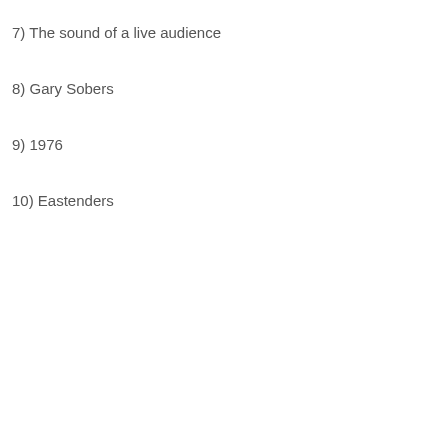7) The sound of a live audience
8) Gary Sobers
9) 1976
10) Eastenders